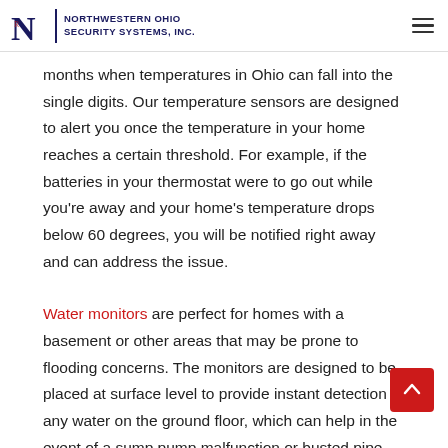Northwestern Ohio Security Systems, Inc.
months when temperatures in Ohio can fall into the single digits. Our temperature sensors are designed to alert you once the temperature in your home reaches a certain threshold. For example, if the batteries in your thermostat were to go out while you're away and your home's temperature drops below 60 degrees, you will be notified right away and can address the issue.
Water monitors are perfect for homes with a basement or other areas that may be prone to flooding concerns. The monitors are designed to be placed at surface level to provide instant detection of any water on the ground floor, which can help in the event of a sump pump malfunction or busted pipe due